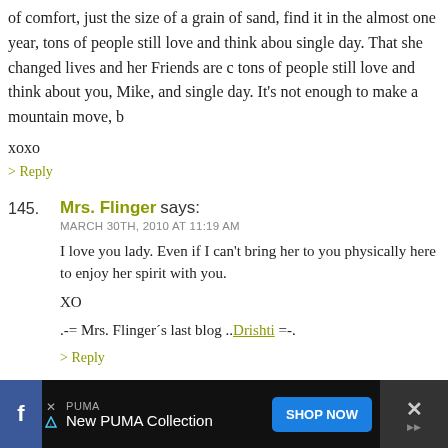of comfort, just the size of a grain of sand, find it in the almost one year, tons of people still love and think about single day. That she changed lives and her Friends are c tons of people still love and think about you, Mike, and single day. It's not enough to make a mountain move, b
xoxo
> Reply
145. Mrs. Flinger says: MARCH 30TH, 2010 AT 11:19 AM
I love you lady. Even if I can't bring her to you physically here to enjoy her spirit with you.
XO
.-= Mrs. Flinger´s last blog ..Drishti =-.
> Reply
146. Issa says: MARCH 30TH, 2010 AT 11:25 AM
[Figure (other): Advertisement banner: PUMA - New PUMA Collection, with SHOP NOW button, Facebook icon on left, close X on right]